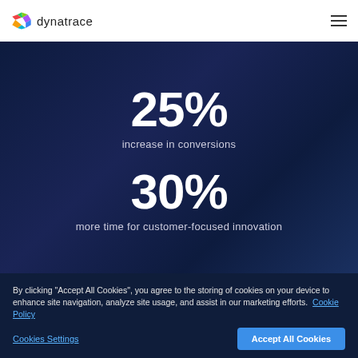Dynatrace
25%
increase in conversions
30%
more time for customer-focused innovation
By clicking "Accept All Cookies", you agree to the storing of cookies on your device to enhance site navigation, analyze site usage, and assist in our marketing efforts. Cookie Policy
Cookies Settings
Accept All Cookies